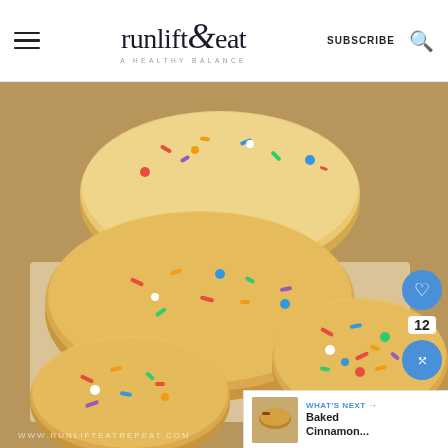runlift&eat — A HEALTHY BALANCE | SUBSCRIBE
[Figure (photo): Stack of glazed donuts with colorful sprinkles on parchment paper, photographed close up. Website watermark reads www.runlifteatrepeat.com]
WHAT'S NEXT → Baked Cinnamon...
12